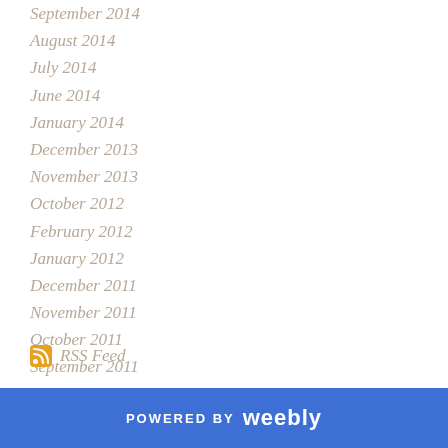September 2014
August 2014
July 2014
June 2014
January 2014
December 2013
November 2013
October 2012
February 2012
January 2012
December 2011
November 2011
October 2011
September 2011
August 2011
RSS Feed
POWERED BY weebly